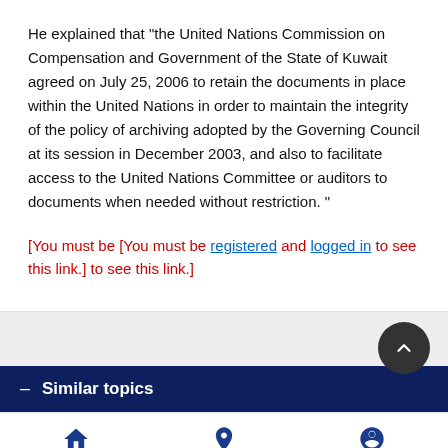He explained that "the United Nations Commission on Compensation and Government of the State of Kuwait agreed on July 25, 2006 to retain the documents in place within the United Nations in order to maintain the integrity of the policy of archiving adopted by the Governing Council at its session in December 2003, and also to facilitate access to the United Nations Committee or auditors to documents when needed without restriction. "
[You must be [You must be registered and logged in to see this link.] to see this link.]
Similar topics
Home  Last  Log in